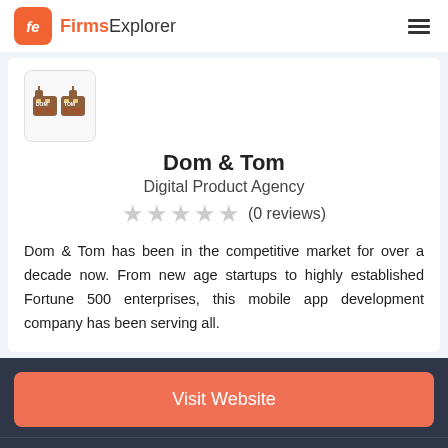FirmsExplorer
[Figure (logo): Dom & Tom robot logo — two small robot figures side by side]
Dom & Tom
Digital Product Agency
★★★★★ (0 reviews)
Dom & Tom has been in the competitive market for over a decade now. From new age startups to highly established Fortune 500 enterprises, this mobile app development company has been serving all.
Visit Website
View Profile
Reviews